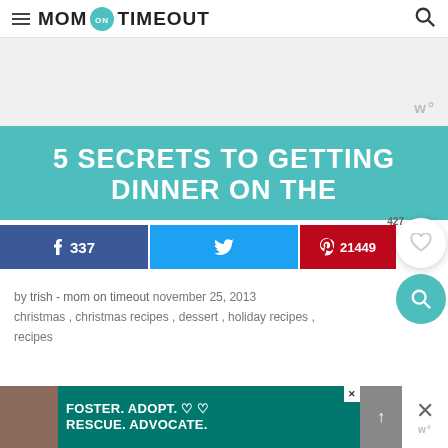MOM ON TIMEOUT
[Figure (other): Advertisement banner placeholder (light gray background with watermark logo)]
5 SECRETS TO GETTING DINNER ON THE
[Figure (infographic): Social share bar with Facebook (337), Twitter, and Pinterest (21449) buttons, plus heart (427) and search overlay buttons]
by trish - mom on timeout november 25, 2013 christmas, christmas recipes, dessert, holiday recipes, recipes
[Figure (other): Bottom advertisement: FOSTER. ADOPT. RESCUE. ADVOCATE. with dog image on teal background]